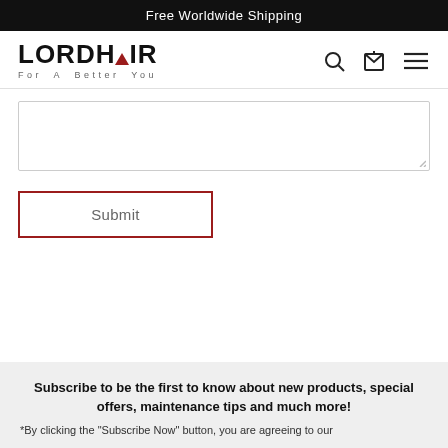Free Worldwide Shipping
[Figure (logo): Lordhair logo with red triangle in the letter A and tagline 'For A Better You']
[Figure (other): Text area input field (empty)]
[Figure (other): Submit button with red border]
Subscribe to be the first to know about new products, special offers, maintenance tips and much more!
*By clicking the "Subscribe Now" button, you are agreeing to our